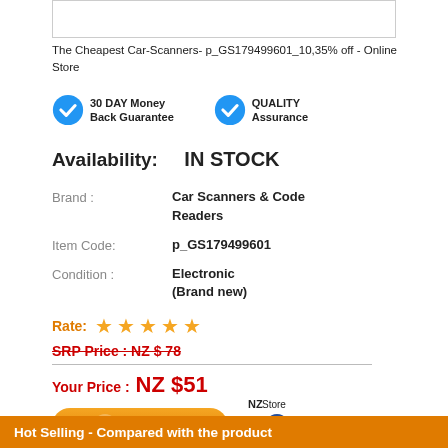[Figure (other): Product image placeholder box (white rectangle with border)]
The Cheapest Car-Scanners- p_GS179499601_10,35% off - Online Store
[Figure (other): Two blue checkmark badges: '30 DAY Money Back Guarantee' and 'QUALITY Assurance']
Availability: IN STOCK
Brand : Car Scanners & Code Readers
Item Code: p_GS179499601
Condition : Electronic (Brand new)
Rate: ★★★★★
SRP Price : NZ $ 78
Your Price : NZ $51
[Figure (other): Orange 'Buy Now' button with circular arrow icon]
[Figure (logo): NZ Store logo with New Zealand map graphic and 'NZ Store Owned & Operated' text]
Hot Selling - Compared with the product